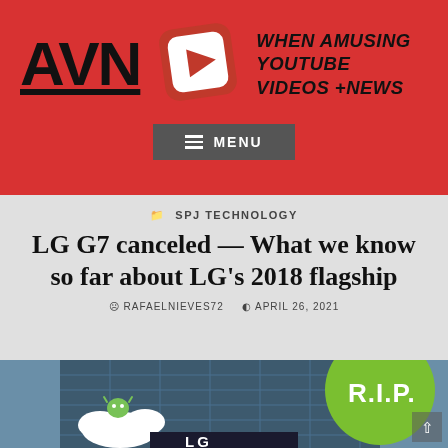AVN — WHEN AMUSING YOUTUBE VIDEOS +NEWS
[Figure (screenshot): AVN website header with red background, YouTube logo icon, site title AVN, tagline WHEN AMUSING YOUTUBE VIDEOS +NEWS, and a dark gray MENU button]
SPJ TECHNOLOGY
LG G7 canceled — What we know so far about LG's 2018 flagship
RAFAELNIEVES72   APRIL 26, 2021
[Figure (photo): Photo of LG building with glass facade, Android mascot on a cloud in the lower left, and a large green circle with white R.I.P. text in the upper right]